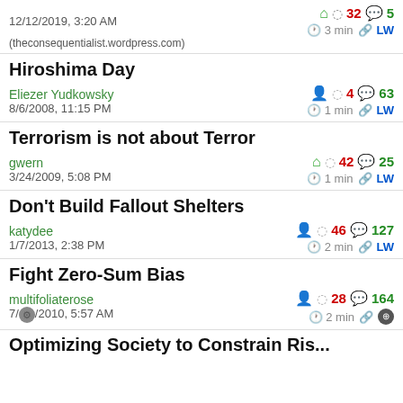12/12/2019, 3:20 AM  (theconsequentialist.wordpress.com)  32  5  3 min  LW
Hiroshima Day
Eliezer Yudkowsky  8/6/2008, 11:15 PM  4  63  1 min  LW
Terrorism is not about Terror
gwern  3/24/2009, 5:08 PM  42  25  1 min  LW
Don't Build Fallout Shelters
katydee  1/7/2013, 2:38 PM  46  127  2 min  LW
Fight Zero-Sum Bias
multifoliaterose  7/[gear]/2010, 5:57 AM  28  164  2 min  LW
Optimizing Society to Constrain Ris...